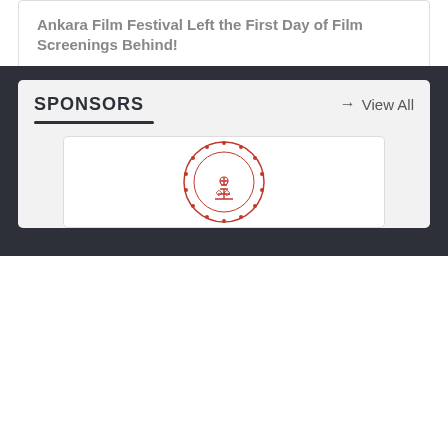Ankara Film Festival Left the First Day of Film Screenings Behind!
Ankara Film Festival Has Started!
Tümünü Göster
SPONSORS
→ View All
[Figure (logo): Red circular emblem logo of a Turkish government or culture ministry institution]